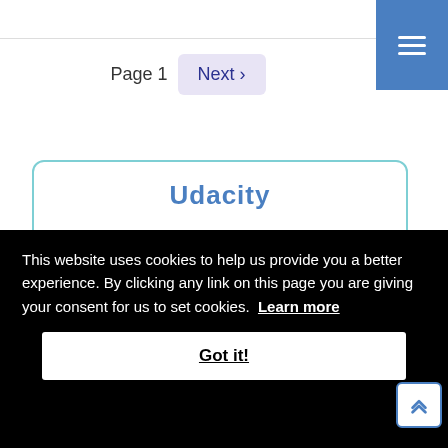Page 1  Next ›
[Figure (screenshot): Blue hamburger menu button in top-right corner]
Udacity
This website uses cookies to help us provide you a better experience. By clicking any link on this page you are giving your consent for us to set cookies.  Learn more
Got it!
DataCamp - Give a try for free